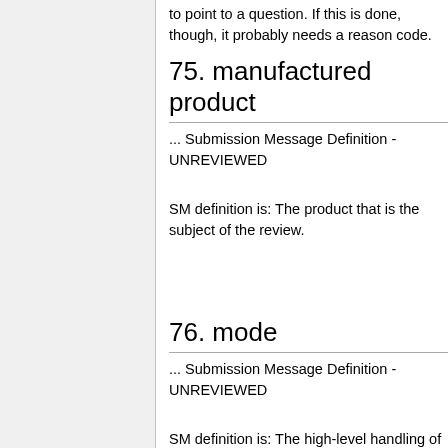to point to a question. If this is done, though, it probably needs a reason code.
75. manufactured product
... Submission Message Definition - UNREVIEWED
SM definition is: The product that is the subject of the review.
76. mode
... Submission Message Definition - UNREVIEWED
SM definition is: The high-level handling of the information submitted as part of